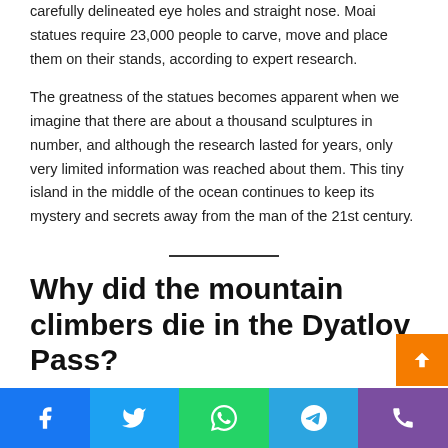carefully delineated eye holes and straight nose. Moai statues require 23,000 people to carve, move and place them on their stands, according to expert research.
The greatness of the statues becomes apparent when we imagine that there are about a thousand sculptures in number, and although the research lasted for years, only very limited information was reached about them. This tiny island in the middle of the ocean continues to keep its mystery and secrets away from the man of the 21st century.
Why did the mountain climbers die in the Dyatlov Pass?
Social share bar: Facebook, Twitter, WhatsApp, Telegram, Phone